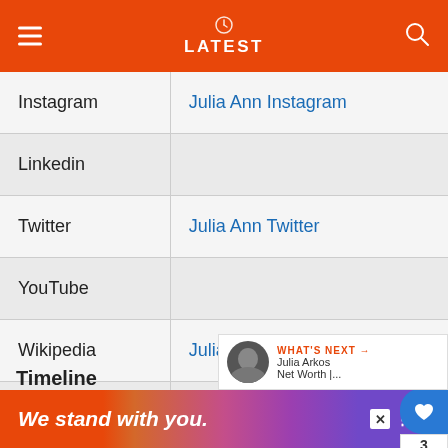LATEST
|  |  |
| --- | --- |
| Instagram | Julia Ann Instagram |
| Linkedin |  |
| Twitter | Julia Ann Twitter |
| YouTube |  |
| Wikipedia | Julia Ann Wikipedia |
| Imdb |  |
Timeline